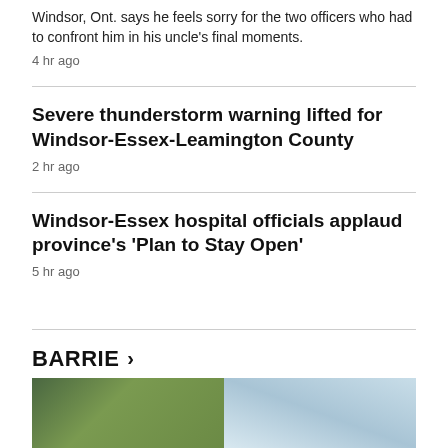Windsor, Ont. says he feels sorry for the two officers who had to confront him in his uncle's final moments.
4 hr ago
Severe thunderstorm warning lifted for Windsor-Essex-Leamington County
2 hr ago
Windsor-Essex hospital officials applaud province's 'Plan to Stay Open'
5 hr ago
BARRIE >
[Figure (photo): Outdoor photo showing trees on the left and sky on the right, partially visible at bottom of page.]